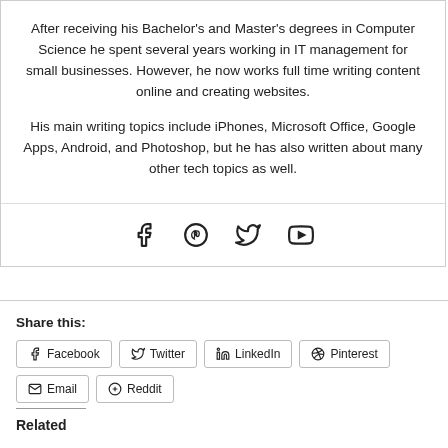After receiving his Bachelor's and Master's degrees in Computer Science he spent several years working in IT management for small businesses. However, he now works full time writing content online and creating websites.
His main writing topics include iPhones, Microsoft Office, Google Apps, Android, and Photoshop, but he has also written about many other tech topics as well.
[Figure (infographic): Social media icons: Facebook, Pinterest, Twitter, YouTube]
Share this:
Facebook | Twitter | LinkedIn | Pinterest | Email | Reddit
Related